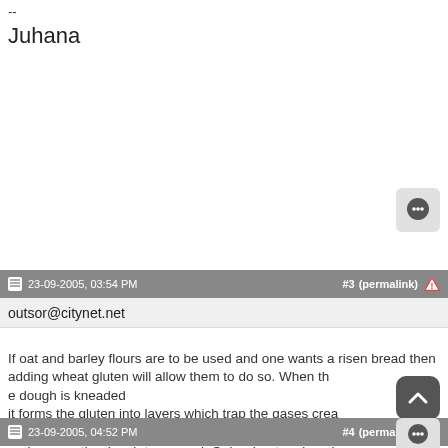--
Juhana
23-09-2005, 03:54 PM  #3 (permalink)
outsor@citynet.net
If oat and barley flours are to be used and one wants a risen bread then adding wheat gluten will allow them to do so. When the dough is kneaded it forms the gluten into layers which trap the gases created by the yeast and causes the dough to expand. Only wheat and rye have gluten to any extent.
23-09-2005, 04:52 PM  #4 (permalink)